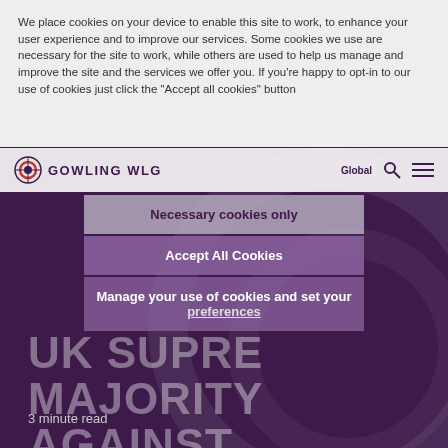We place cookies on your device to enable this site to work, to enhance your user experience and to improve our services. Some cookies we use are necessary for the site to work, while others are used to help us manage and improve the site and the services we offer you. If you're happy to opt-in to our use of cookies just click the "Accept all cookies" button
GOWLING WLG | Global
Necessary cookies only
Accept All Cookies
Manage your use of cookies and set your preferences
UK SUPREME COURT MAJORITY AGAINST WARNER-LAMBERT IN PREGABALIN PATENT CASE
3 minute read